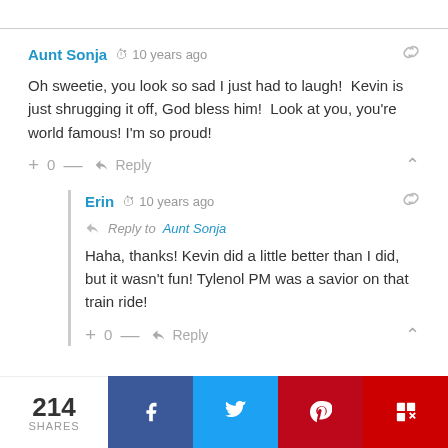Aunt Sonja  10 years ago
Oh sweetie, you look so sad I just had to laugh!  Kevin is just shrugging it off, God bless him!  Look at you, you're world famous! I'm so proud!
+ 0 —  Reply
Erin  10 years ago  Reply to Aunt Sonja
Haha, thanks! Kevin did a little better than I did, but it wasn't fun! Tylenol PM was a savior on that train ride!
+ 0 —  Reply
214 SHARES